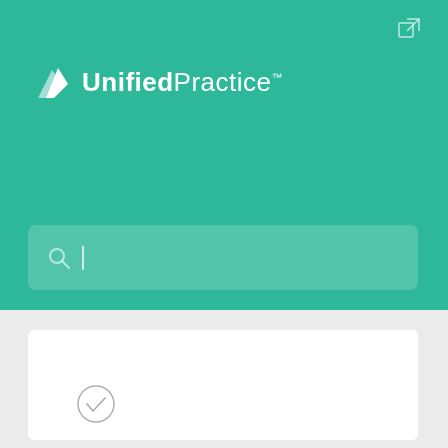[Figure (screenshot): Teal background header section of Unified Practice app]
[Figure (logo): Unified Practice logo with white leaf/book icon and text 'UnifiedPractice' with trademark symbol]
[Figure (screenshot): Search input box with magnifying glass icon and text cursor on teal background]
[Figure (screenshot): White card panel on gray background with circular checkmark icon]